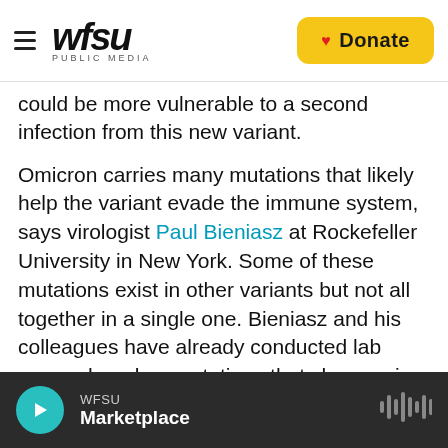WFSU PUBLIC MEDIA | Donate
could be more vulnerable to a second infection from this new variant.
Omicron carries many mutations that likely help the variant evade the immune system, says virologist Paul Bieniasz at Rockefeller University in New York. Some of these mutations exist in other variants but not all together in a single one. Bieniasz and his colleagues have already conducted lab research on key mutations that show up in omicron and found that they can help prevent antibodies from killing the virus.
WFSU Marketplace